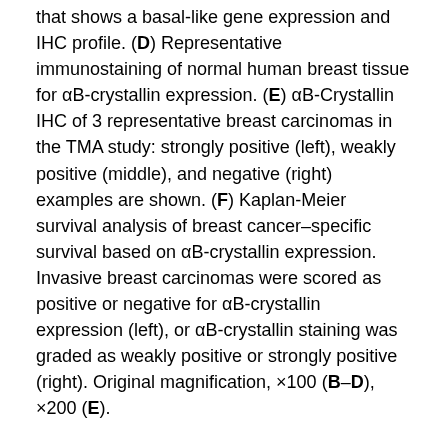that shows a basal-like gene expression and IHC profile. (D) Representative immunostaining of normal human breast tissue for αB-crystallin expression. (E) αB-Crystallin IHC of 3 representative breast carcinomas in the TMA study: strongly positive (left), weakly positive (middle), and negative (right) examples are shown. (F) Kaplan-Meier survival analysis of breast cancer–specific survival based on αB-crystallin expression. Invasive breast carcinomas were scored as positive or negative for αB-crystallin expression (left), or αB-crystallin staining was graded as weakly positive or strongly positive (right). Original magnification, ×100 (B–D), ×200 (E).